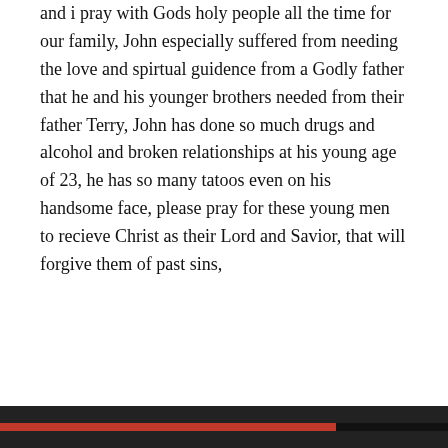and i pray with Gods holy people all the time for our family, John especially suffered from needing the love and spirtual guidence from a Godly father that he and his younger brothers needed from their father Terry, John has done so much drugs and alcohol and broken relationships at his young age of 23, he has so many tatoos even on his handsome face, please pray for these young men to recieve Christ as their Lord and Savior, that will forgive them of past sins,
Privacy & Cookies: This site uses cookies. By continuing to use this website, you agree to their use.
To find out more, including how to control cookies, see here: Cookie Policy
Close and accept